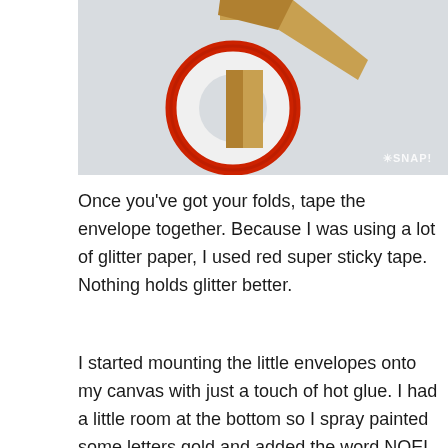[Figure (photo): A roll of red super sticky tape with a piece of brown/kraft paper partially inserted through the roll, against a light gray background. A watermark reads *SNAP! in the bottom right corner.]
Once you've got your folds, tape the envelope together. Because I was using a lot of glitter paper, I used red super sticky tape. Nothing holds glitter better.
I started mounting the little envelopes onto my canvas with just a touch of hot glue. I had a little room at the bottom so I spray painted some letters gold and added the word NOEL to the bottom of the advent.